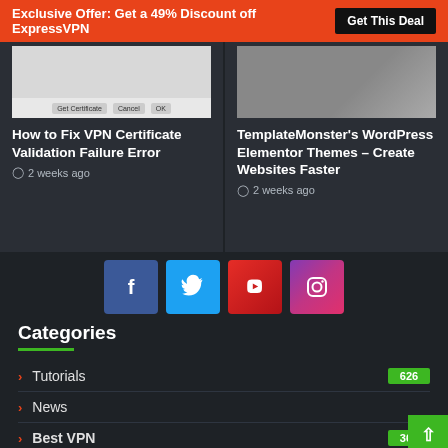Exclusive Offer: Get a 49% Discount off ExpressVPN | Get This Deal
How to Fix VPN Certificate Validation Failure Error
2 weeks ago
TemplateMonster's WordPress Elementor Themes – Create Websites Faster
2 weeks ago
[Figure (infographic): Social media icon buttons: Facebook (blue), Twitter (light blue), YouTube (red), Instagram (purple-pink gradient)]
Categories
Tutorials  626
News
Best VPN  366
Review  5